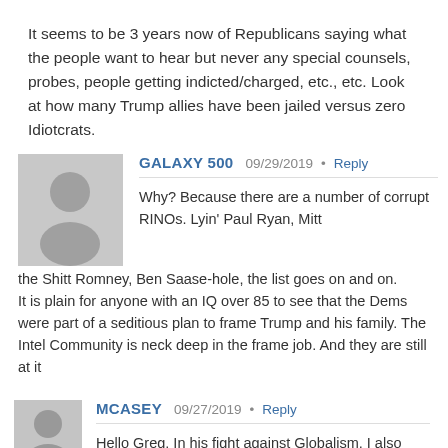It seems to be 3 years now of Republicans saying what the people want to hear but never any special counsels, probes, people getting indicted/charged, etc., etc. Look at how many Trump allies have been jailed versus zero Idiotcrats.
GALAXY 500   09/29/2019 • Reply
Why? Because there are a number of corrupt RINOs. Lyin' Paul Ryan, Mitt the Shitt Romney, Ben Saase-hole, the list goes on and on.
It is plain for anyone with an IQ over 85 to see that the Dems were part of a seditious plan to frame Trump and his family. The Intel Community is neck deep in the frame job. And they are still at it
MCASEY   09/27/2019 • Reply
Hello Greg, In his fight against Globalism, I also noticed in his UN speech that President Trump